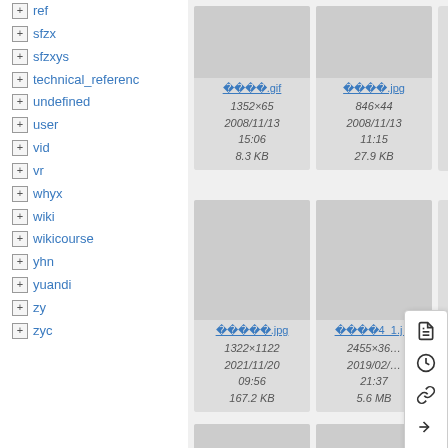+ ref
+ sfzx
+ sfzxys
+ technical_reference
+ undefined
+ user
+ vid
+ vr
+ whyx
+ wiki
+ wikicourse
+ yhn
+ yuandi
+ zy
+ zyc
[Figure (screenshot): File thumbnail grid showing image files with metadata. Top row: a .gif file (1352x65, 2008/11/13 15:06, 8.3 KB) and a .jpg file (846x44, 2008/11/13 11:15, 27.9 KB). Bottom row: a .jpg file (1322x1122, 2021/11/20 09:56, 167.2 KB) and a partial .jpg file (2455x36?, 2019/02/? 21:37, 5.6 MB). A context menu is overlaid showing icons for file, history, link, move, and up actions.]